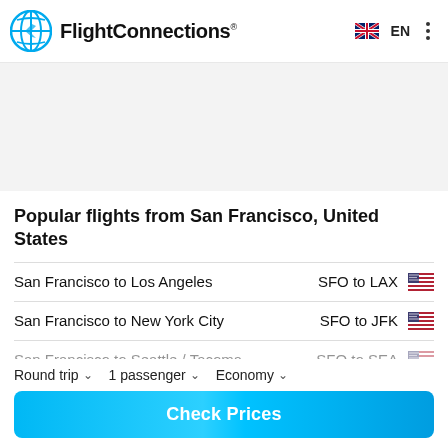FlightConnections® EN
[Figure (other): Banner/advertisement placeholder area, light gray background]
Popular flights from San Francisco, United States
San Francisco to Los Angeles   SFO to LAX
San Francisco to New York City   SFO to JFK
San Francisco to Seattle / Tacoma   SFO to SEA
Round trip   1 passenger   Economy
Check Prices